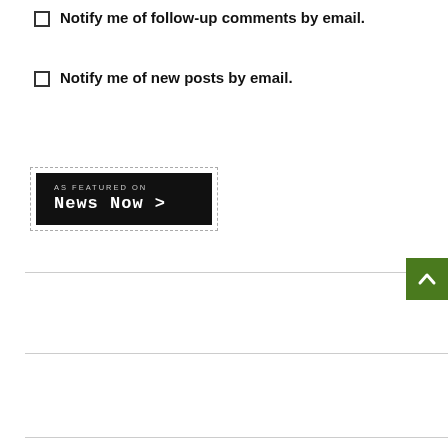Notify me of follow-up comments by email.
Notify me of new posts by email.
[Figure (logo): As Featured On News Now badge with black background and dashed border]
[Figure (other): Back to top button, dark green square with white chevron arrow pointing up]